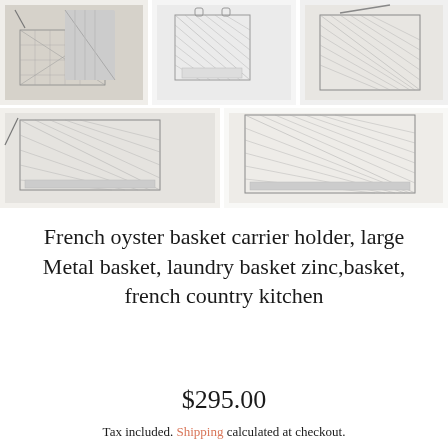[Figure (photo): Grid of 5 product photos showing a vintage French wire metal basket/carrier from different angles on white background]
French oyster basket carrier holder, large Metal basket, laundry basket zinc,basket, french country kitchen
$295.00
Tax included. Shipping calculated at checkout.